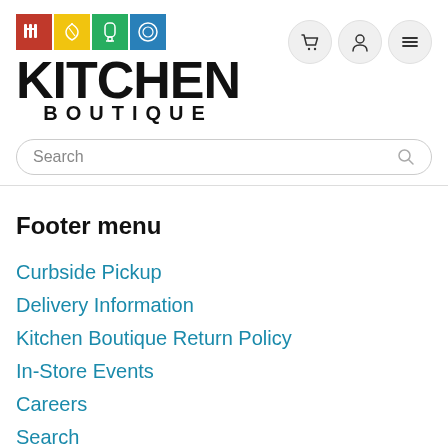[Figure (logo): Kitchen Boutique logo with four colored icon squares (red, yellow, green, blue) containing kitchen utensil icons, and text KITCHEN BOUTIQUE below]
[Figure (infographic): Three circular navigation buttons: shopping cart, user/account, and hamburger menu]
Search
Footer menu
Curbside Pickup
Delivery Information
Kitchen Boutique Return Policy
In-Store Events
Careers
Search
STORE HOURS